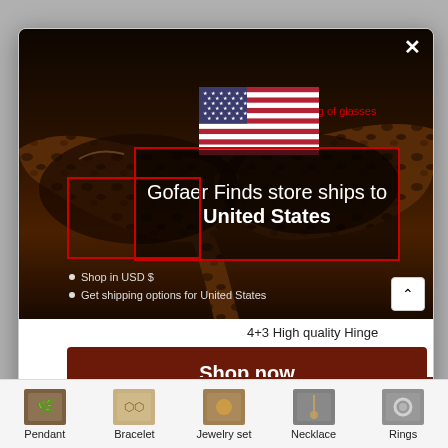[Figure (screenshot): E-commerce website screenshot showing a product page for sunglasses with a shipping country modal overlay. The modal shows a US flag, text 'Gofaer Finds store ships to United States', bullet points about USD shopping and shipping options, a 'Shop now' button, quantity controls, 'ADD TO CART' button, and 'Change shipping country' link. Background shows tortoiseshell glasses. Bottom navigation shows jewelry categories: Pendant, Bracelet, Jewelry set, Necklace, Rings.]
etal bars in the leg of glasses
er
Gofaer Finds store ships to United States
Shop in USD $
Get shipping options for United States
4+3 High quality Hinge
Shop now
ADD TO CART
Change shipping country
Pendant
Bracelet
Jewelry set
Necklace
Rings